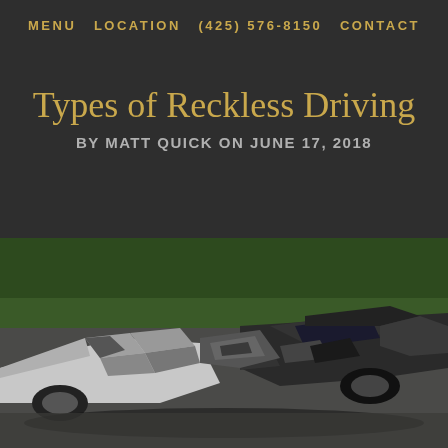MENU   LOCATION   (425) 576-8150   CONTACT
Types of Reckless Driving
BY MATT QUICK ON JUNE 17, 2018
[Figure (photo): A heavily damaged car crash scene showing two severely wrecked vehicles with crumpled metal, missing parts, and a green tree-covered background.]